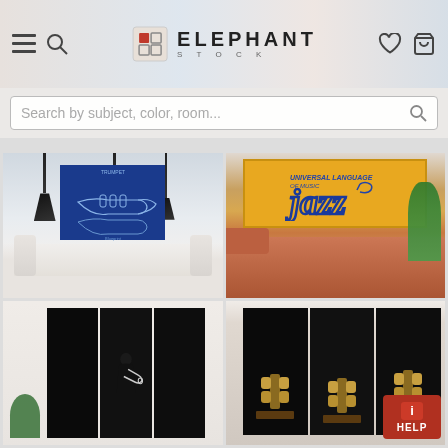[Figure (screenshot): ElephantStock website header with logo, hamburger menu, search icon, heart icon, and cart icon]
Search by subject, color, room...
[Figure (photo): Blueprint-style trumpet patent artwork displayed on wall in modern white living room with pendant lights]
[Figure (photo): Jazz typography art on yellow background displayed on wall in living room with salmon sofa]
[Figure (photo): Black and white jazz trumpet musician artwork in triptych panels displayed in bright room]
[Figure (photo): Gold dumbbells triptych artwork displayed on dark background in panels]